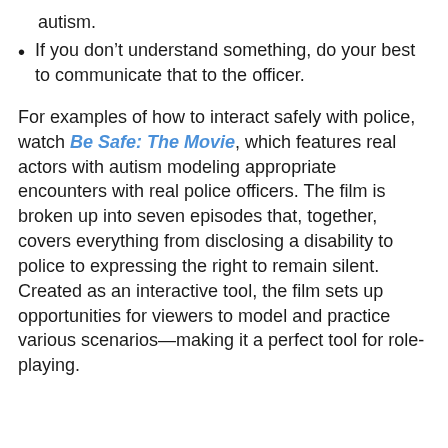autism.
If you don’t understand something, do your best to communicate that to the officer.
For examples of how to interact safely with police, watch Be Safe: The Movie, which features real actors with autism modeling appropriate encounters with real police officers. The film is broken up into seven episodes that, together, covers everything from disclosing a disability to police to expressing the right to remain silent. Created as an interactive tool, the film sets up opportunities for viewers to model and practice various scenarios—making it a perfect tool for role-playing.